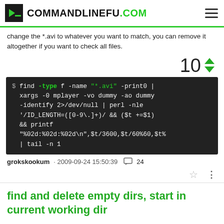COMMANDLINEFU.COM
change the *.avi to whatever you want to match, you can remove it altogether if you want to check all files.
[Figure (other): Vote score display showing 10 with up and down green arrows]
[Figure (screenshot): Terminal code block: $ find -type f -name "*.avi" -print0 | xargs -0 mplayer -vo dummy -ao dummy -identify 2>/dev/null | perl -nle '/ID_LENGTH=([0-9\.]+)/ && ($t +=$1) && printf "%02d:%02d:%02d\n",$t/3600,$t/60%60,$t% | tail -n 1]
grokskookum · 2009-09-24 15:50:39  💬 24
find and delete empty dirs, start in current working dir